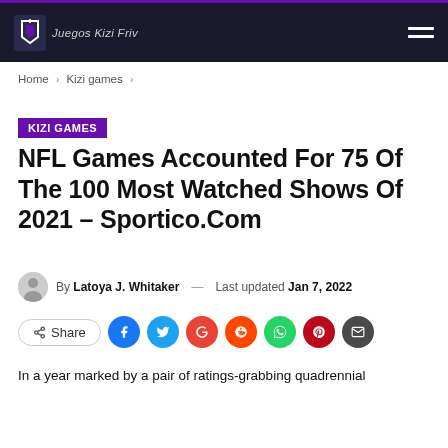Juegos Kizi Friv
Home › Kizi games ›
KIZI GAMES
NFL Games Accounted For 75 Of The 100 Most Watched Shows Of 2021 – Sportico.Com
By Latoya J. Whitaker — Last updated Jan 7, 2022
Share
In a year marked by a pair of ratings-grabbing quadrennial